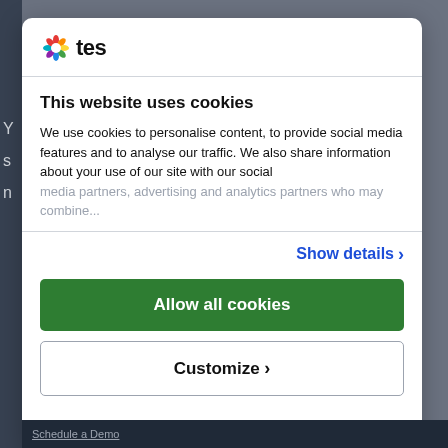[Figure (logo): Tes logo with colorful star-like icon and 'tes' text]
This website uses cookies
We use cookies to personalise content, to provide social media features and to analyse our traffic. We also share information about your use of our site with our social
Show details ›
Allow all cookies
Customize ›
Powered by Cookiebot by Usercentrics